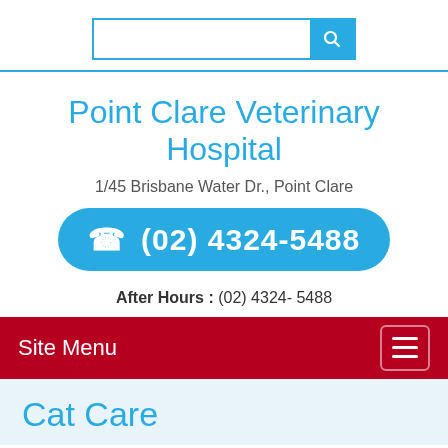Search bar with search button
Point Clare Veterinary Hospital
1/45 Brisbane Water Dr., Point Clare
☎ (02) 4324-5488
After Hours : (02) 4324- 5488
Site Menu
Cat Care